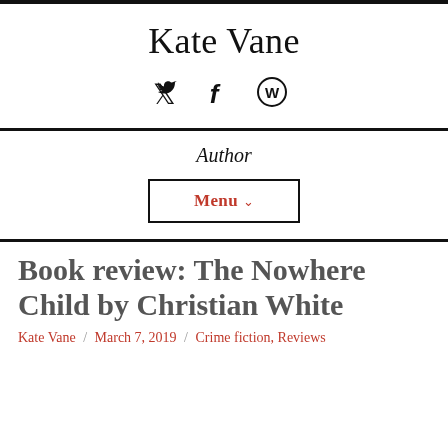Kate Vane
[Figure (other): Social media icons: Twitter bird, Facebook f, WordPress logo]
Author
Menu
Book review: The Nowhere Child by Christian White
Kate Vane / March 7, 2019 / Crime fiction, Reviews